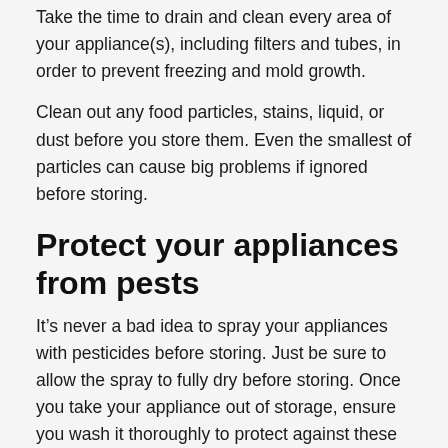Take the time to drain and clean every area of your appliance(s), including filters and tubes, in order to prevent freezing and mold growth.
Clean out any food particles, stains, liquid, or dust before you store them. Even the smallest of particles can cause big problems if ignored before storing.
Protect your appliances from pests
It’s never a bad idea to spray your appliances with pesticides before storing. Just be sure to allow the spray to fully dry before storing. Once you take your appliance out of storage, ensure you wash it thoroughly to protect against these chemicals.
Wrap and tape doors shut